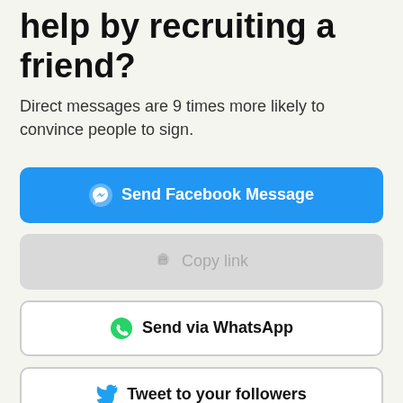help by recruiting a friend?
Direct messages are 9 times more likely to convince people to sign.
Send Facebook Message
Copy link
Send via WhatsApp
Tweet to your followers
Send an email